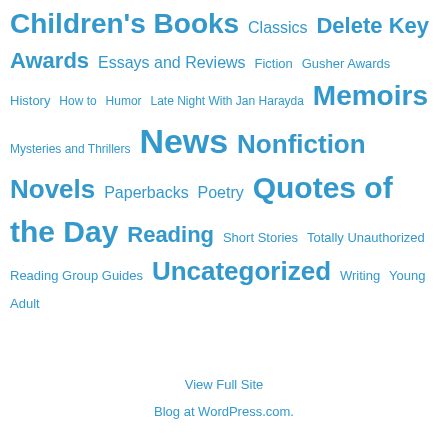Children's Books Classics Delete Key Awards Essays and Reviews Fiction Gusher Awards History How to Humor Late Night With Jan Harayda Memoirs Mysteries and Thrillers News Nonfiction Novels Paperbacks Poetry Quotes of the Day Reading Short Stories Totally Unauthorized Reading Group Guides Uncategorized Writing Young Adult
View Full Site
Blog at WordPress.com.